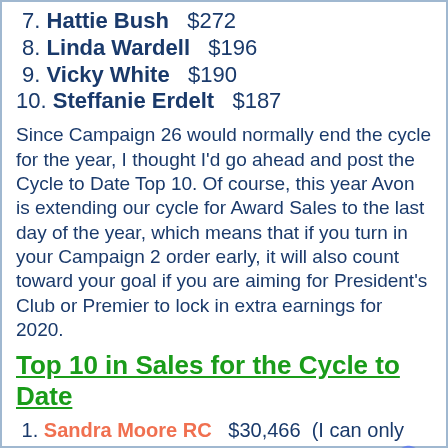7. Hattie Bush   $272
8. Linda Wardell   $196
9. Vicky White   $190
10. Steffanie Erdelt   $187
Since Campaign 26 would normally end the cycle for the year, I thought I'd go ahead and post the Cycle to Date Top 10. Of course, this year Avon is extending our cycle for Award Sales to the last day of the year, which means that if you turn in your Campaign 2 order early, it will also count toward your goal if you are aiming for President's Club or Premier to lock in extra earnings for 2020.
Top 10 in Sales for the Cycle to Date
1. Sandra Moore RC   $30,466  (I can only claim Rose Circle until the end of the year. 😰)
2. Leslie Clandenon RC   $11,886  (Locked in for...